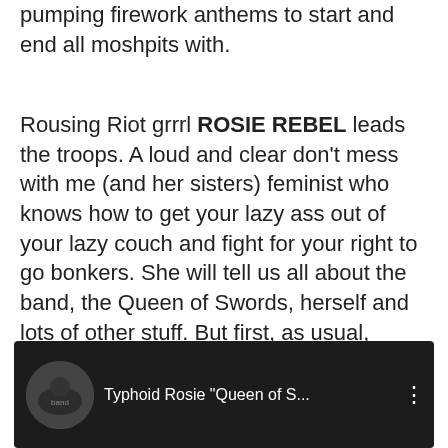pumping firework anthems to start and end all moshpits with.
Rousing Riot grrrl ROSIE REBEL leads the troops. A loud and clear don't mess with me (and her sisters) feminist who knows how to get your lazy ass out of your lazy couch and fight for your right to go bonkers. She will tell us all about the band, the Queen of Swords, herself and lots of other stuff. But first, as usual, before starting an interview, a piece of music, let's make it a gloriously informative one this time...
[Figure (screenshot): YouTube video thumbnail showing Typhoid Rosie 'Queen of S...' with a dark background and circular avatar of the band]